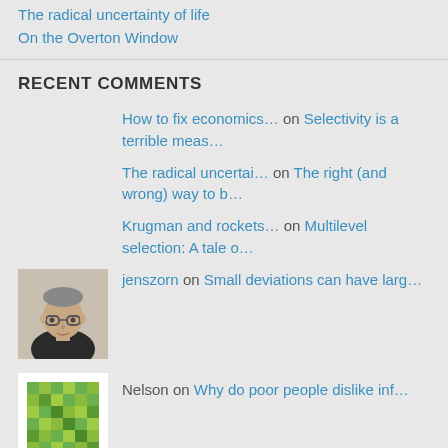The radical uncertainty of life
On the Overton Window
RECENT COMMENTS
How to fix economics… on Selectivity is a terrible meas…
The radical uncertai… on The right (and wrong) way to b…
Krugman and rockets… on Multilevel selection: A tale o…
jenszorn on Small deviations can have larg…
Nelson on Why do poor people dislike inf…
ARCHIVES